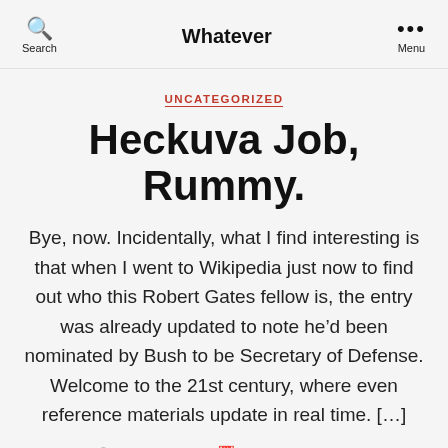Search | Whatever | Menu
UNCATEGORIZED
Heckuva Job, Rummy.
Bye, now. Incidentally, what I find interesting is that when I went to Wikipedia just now to find out who this Robert Gates fellow is, the entry was already updated to note he'd been nominated by Bush to be Secretary of Defense. Welcome to the 21st century, where even reference materials update in real time. […]
By John Scalzi   November 8, 2006